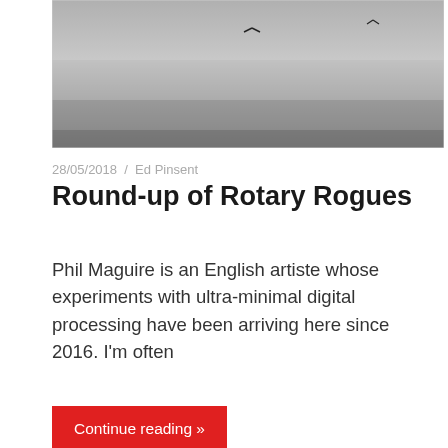[Figure (photo): Black and white aerial or landscape photograph showing a hazy sky with two small bird silhouettes visible]
28/05/2018 / Ed Pinsent
Round-up of Rotary Rogues
Phil Maguire is an English artiste whose experiments with ultra-minimal digital processing have been arriving here since 2016. I’m often
Continue reading »
[Figure (photo): Colour photograph of a dark crumpled package or envelope on a blue fabric background, with Polish postage stamps (POLSKA) visible at the bottom]